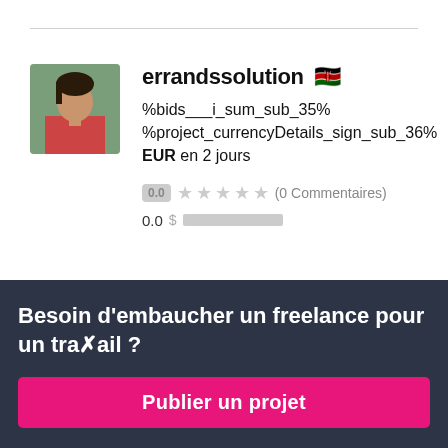[Figure (screenshot): Freelancer profile card for 'errandssolution' with Kenyan flag, bid amount text, star rating showing 0.0, and 0 Commentaires]
errandssolution 🇰🇪
%bids___i_sum_sub_35% %project_currencyDetails_sign_sub_36% EUR en 2 jours
0.0 ★★★★★ (0 Commentaires)
0.0 $ ██████████
Besoin d'embaucher un freelance pour un travail ?
Publier un projet